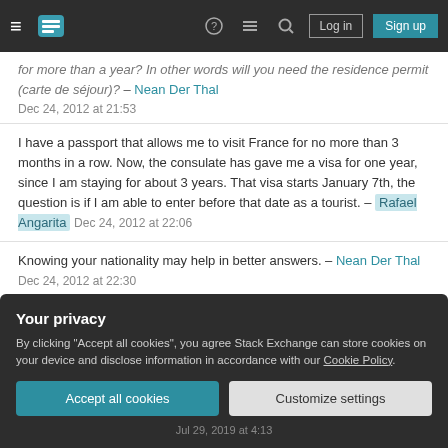Stack Exchange navigation bar with Log in and Sign up buttons
for more than a year? In other words will you need the residence permit (carte de séjour)? – Nean Der Thal Dec 24, 2012 at 21:53
I have a passport that allows me to visit France for no more than 3 months in a row. Now, the consulate has gave me a visa for one year, since I am staying for about 3 years. That visa starts January 7th, the question is if I am able to enter before that date as a tourist. – Rafael Angarita Dec 24, 2012 at 22:06
Knowing your nationality may help in better answers. – Nean Der Thal Dec 24, 2012 at 22:30
It does not. It is valid for one year and it says: type of
Your privacy
By clicking "Accept all cookies", you agree Stack Exchange can store cookies on your device and disclose information in accordance with our Cookie Policy.
Accept all cookies
Customize settings
Jul 29, 2019 at 4:13